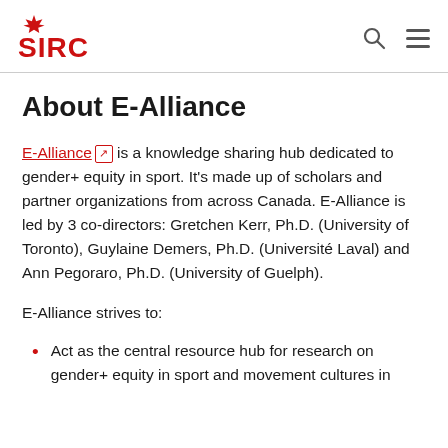SIRC logo with search and menu icons
About E-Alliance
E-Alliance is a knowledge sharing hub dedicated to gender+ equity in sport. It's made up of scholars and partner organizations from across Canada. E-Alliance is led by 3 co-directors: Gretchen Kerr, Ph.D. (University of Toronto), Guylaine Demers, Ph.D. (Université Laval) and Ann Pegoraro, Ph.D. (University of Guelph).
E-Alliance strives to:
Act as the central resource hub for research on gender+ equity in sport and movement cultures in